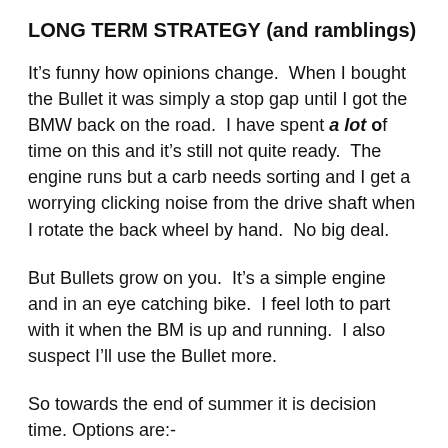LONG TERM STRATEGY (and ramblings)
It’s funny how opinions change.  When I bought the Bullet it was simply a stop gap until I got the BMW back on the road.  I have spent a lot of time on this and it’s still not quite ready.  The engine runs but a carb needs sorting and I get a worrying clicking noise from the drive shaft when I rotate the back wheel by hand.  No big deal.
But Bullets grow on you.  It’s a simple engine and in an eye catching bike.  I feel loth to part with it when the BM is up and running.  I also suspect I’ll use the Bullet more.
So towards the end of summer it is decision time. Options are:-